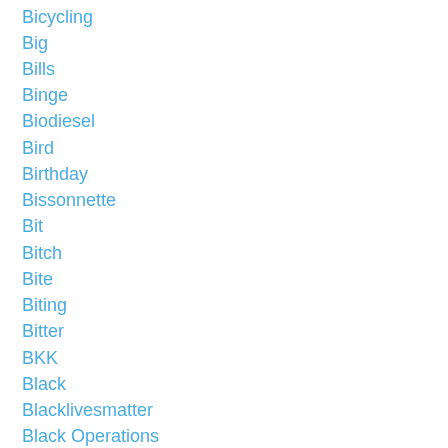Bicycling
Big
Bills
Binge
Biodiesel
Bird
Birthday
Bissonnette
Bit
Bitch
Bite
Biting
Bitter
BKK
Black
Blacklivesmatter
Black Operations
Black Ops
Blanket
Blessing
Blinding